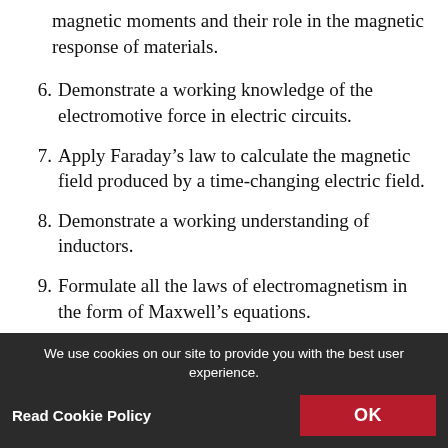magnetic moments and their role in the magnetic response of materials.
6. Demonstrate a working knowledge of the electromotive force in electric circuits.
7. Apply Faraday’s law to calculate the magnetic field produced by a time-changing electric field.
8. Demonstrate a working understanding of inductors.
9. Formulate all the laws of electromagnetism in the form of Maxwell’s equations.
10. Demonstrate an understanding of electromagnetic waves as a consequence of Maxwell’s equations.
11. Appreciate some of the connections between electromagnetism and special relativity.
We use cookies on our site to provide you with the best user experience. Read Cookie Policy OK